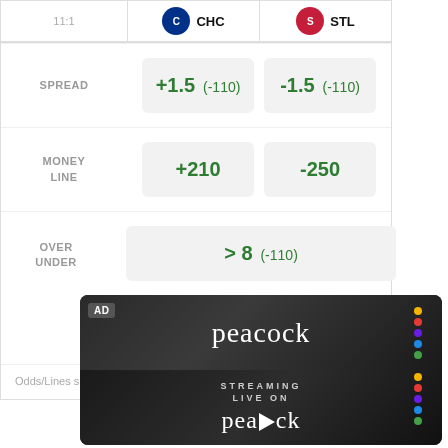|  | CHC | STL |
| --- | --- | --- |
| SPREAD | +1.5 (-110) | -1.5 (-110) |
| MONEY LINE | +210 | -250 |
| OVER UNDER | > 8 (-110) / < 8 (-110) |  |
Odds/Lines subject to change. See draftkings.com for details.
[Figure (other): Peacock streaming service advertisement banner with logo, colored dots, and text 'STREAMING LIVE ON peacock']